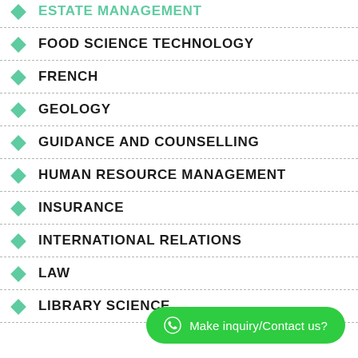ESTATE MANAGEMENT
FOOD SCIENCE TECHNOLOGY
FRENCH
GEOLOGY
GUIDANCE AND COUNSELLING
HUMAN RESOURCE MANAGEMENT
INSURANCE
INTERNATIONAL RELATIONS
LAW
LIBRARY SCIENCE
Make inquiry/Contact us?